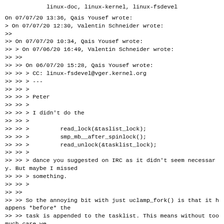linux-doc, linux-kernel, linux-fsdevel
On 07/07/20 13:36, Qais Yousef wrote:
> On 07/07/20 12:30, Valentin Schneider wrote:
>>
>> On 07/07/20 10:34, Qais Yousef wrote:
>> > On 07/06/20 16:49, Valentin Schneider wrote:
>> >>
>> >> On 06/07/20 15:28, Qais Yousef wrote:
>> >> > CC: linux-fsdevel@vger.kernel.org
>> >> > ---
>> >> >
>> >> > Peter
>> >> >
>> >> > I didn't do the
>> >> >
>> >> >         read_lock(&taslist_lock);
>> >> >         smp_mb__after_spinlock();
>> >> >         read_unlock(&tasklist_lock);
>> >> >
>> >> > dance you suggested on IRC as it didn't seem necessary. But maybe I missed
>> >> > something.
>> >> >
>> >>
>> >> So the annoying bit with just uclamp_fork() is that it happens *before* the
>> >> task is appended to the tasklist. This means without too much care we
>> >> would have (if we'd do a sync at uclamp_fork()):